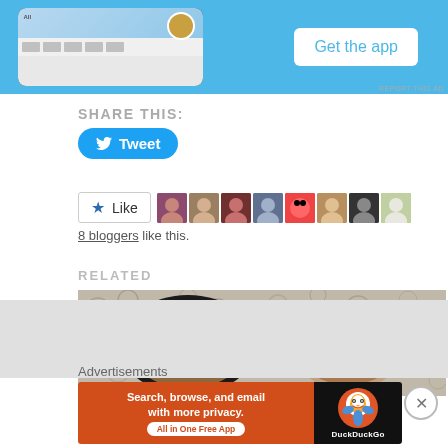[Figure (screenshot): Top advertisement banner showing a phone app mockup on blue background with 'Get the app' button]
SHARE THIS:
[Figure (screenshot): Twitter Tweet button (blue rounded button with bird icon)]
[Figure (screenshot): Facebook Like button and row of 8 blogger avatar photos]
8 bloggers like this.
RELATED
[Figure (photo): Two open makeup powder compacts side by side on a floral patterned background]
Advertisements
[Figure (screenshot): DuckDuckGo advertisement: 'Search, browse, and email with more privacy. All in One Free App' on orange/black background with DuckDuckGo logo]